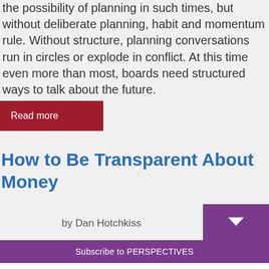the possibility of planning in such times, but without deliberate planning, habit and momentum rule. Without structure, planning conversations run in circles or explode in conflict. At this time even more than most, boards need structured ways to talk about the future.
Read more
How to Be Transparent About Money
by Dan Hotchkiss
Subscribe to PERSPECTIVES
Your email address...
Subscribe